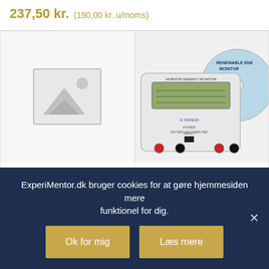237,50 kr.  (190,00 kr. u/moms)
[Figure (photo): Placeholder image for product with no photo - grey box with mountain/image icon]
[Figure (photo): Horizon Energy Monitor device with LCD display and buttons, alongside a Renewable Energy Monitor CD/DVD]
Reservemembran til iltmåler 162210
Energimåler og datalogger
ExperiMentor.dk bruger cookies for at gøre hjemmesiden mere funktionel for dig.
Ok for mig
Læs mere